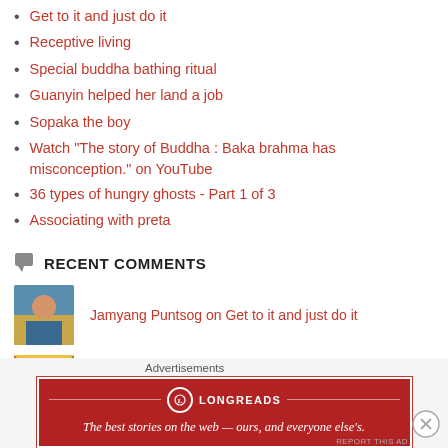Get to it and just do it
Receptive living
Special buddha bathing ritual
Guanyin helped her land a job
Sopaka the boy
Watch "The story of Buddha : Baka brahma has misconception." on YouTube
36 types of hungry ghosts - Part 1 of 3
Associating with preta
RECENT COMMENTS
Jamyang Puntsog on Get to it and just do it
J.Loveridge on Get to it and just do it
[Figure (other): Advertisements banner - Longreads: The best stories on the web — ours, and everyone else's.]